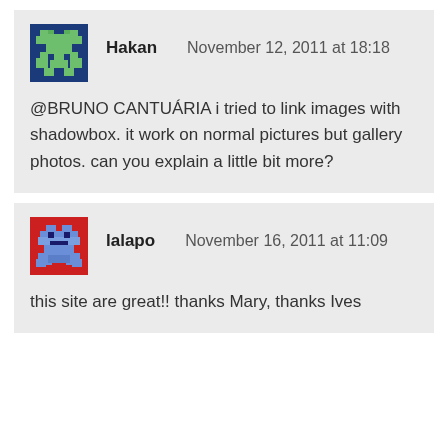Hakan   November 12, 2011 at 18:18

@BRUNO CANTUÁRIA i tried to link images with shadowbox. it work on normal pictures but gallery photos. can you explain a little bit more?
lalapo   November 16, 2011 at 11:09

this site are great!! thanks Mary, thanks Ives